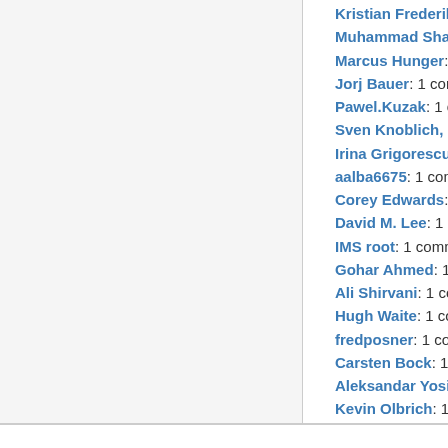Kristian Frederik Høg
Muhammad Shahzad
Marcus Hunger: 1 commits
Jorj Bauer: 1 commits
Pawel.Kuzak: 1 commits
Sven Knoblich, Lucia
Irina Grigorescu: 1 commits
aalba6675: 1 commits
Corey Edwards: 1 commits
David M. Lee: 1 commits
IMS root: 1 commits
Gohar Ahmed: 1 commits
Ali Shirvani: 1 commits
Hugh Waite: 1 commits
fredposner: 1 commits
Carsten Bock: 1 commits
Aleksandar Yosifov: 1 commits
Kevin Olbrich: 1 commits
Powered by GitList 1.0.2